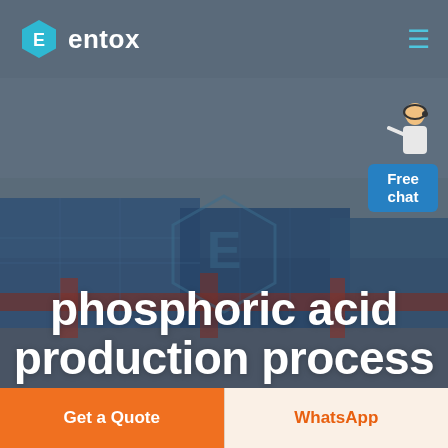entox
[Figure (photo): Aerial view of a large industrial manufacturing facility with blue rooftops and red structures, overlaid with a semi-transparent entox hexagon logo watermark in the center. A customer service representative figure and 'Free chat' button appear in the top-right corner.]
phosphoric acid production process
Get a Quote
WhatsApp